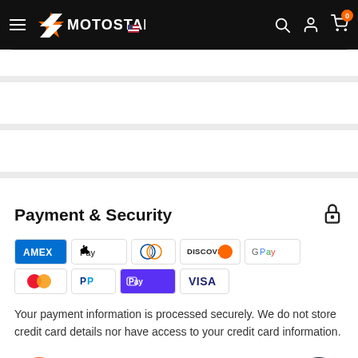MOTOSTARZ — navigation header with hamburger menu, logo, search, account, and cart icons
[Figure (screenshot): Gray separator bands representing collapsed product content area]
Payment & Security
[Figure (infographic): Row of payment method icons: Amex, Apple Pay, Diners Club, Discover, Google Pay, Mastercard, PayPal, Shop Pay, Visa]
Your payment information is processed securely. We do not store credit card details nor have access to your credit card information.
Estimate shipping